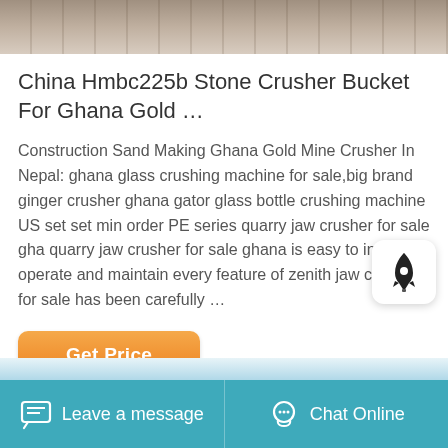[Figure (photo): Top portion of a stone crusher machine image, showing mechanical parts and rocky ground, partially cropped]
China Hmbc225b Stone Crusher Bucket For Ghana Gold …
Construction Sand Making Ghana Gold Mine Crusher In Nepal: ghana glass crushing machine for sale,big brand ginger crusher ghana gator glass bottle crushing machine US set set min order PE series quarry jaw crusher for sale gha quarry jaw crusher for sale ghana is easy to in operate and maintain every feature of zenith jaw crusher for sale has been carefully …
[Figure (illustration): Rocket/launch icon widget overlay on the right side]
[Figure (screenshot): Get Price orange button]
[Figure (photo): Bottom strip showing the top edge of a next product image in blue tones]
Leave a message   Chat Online